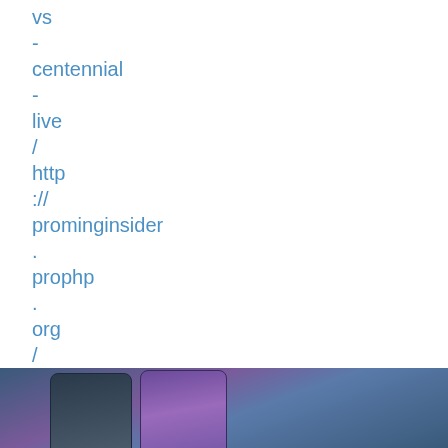vs
-
centennial
-
live
/
http
://
prominginsider
.
prophp
.
org
/
sant
..
[[View rating and comments]]
submitted at 19.08.2022
[Figure (photo): Photo of two smartphones side by side against a blue-purple background]